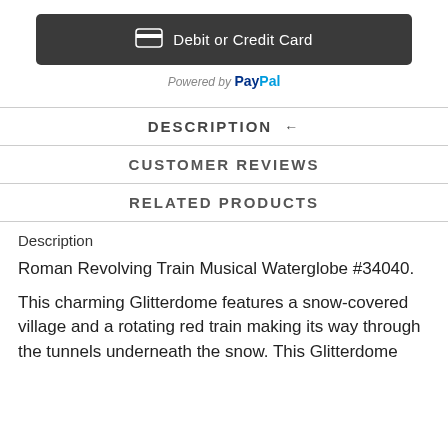[Figure (screenshot): Debit or Credit Card button with dark background and card icon]
Powered by PayPal
DESCRIPTION ←
CUSTOMER REVIEWS
RELATED PRODUCTS
Description
Roman Revolving Train Musical Waterglobe #34040.
This charming Glitterdome features a snow-covered village and a rotating red train making its way through the tunnels underneath the snow. This Glitterdome